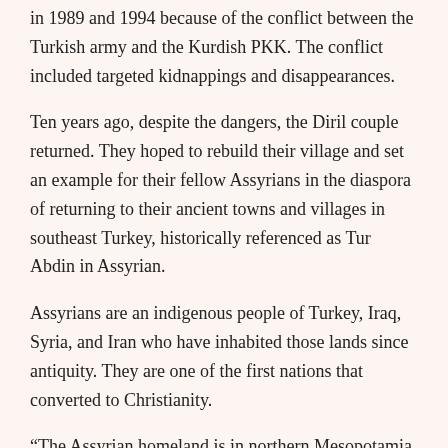in 1989 and 1994 because of the conflict between the Turkish army and the Kurdish PKK. The conflict included targeted kidnappings and disappearances.
Ten years ago, despite the dangers, the Diril couple returned. They hoped to rebuild their village and set an example for their fellow Assyrians in the diaspora of returning to their ancient towns and villages in southeast Turkey, historically referenced as Tur Abdin in Assyrian.
Assyrians are an indigenous people of Turkey, Iraq, Syria, and Iran who have inhabited those lands since antiquity. They are one of the first nations that converted to Christianity.
“The Assyrian homeland is in northern Mesopotamia, present-day Iraq, where the ancient cities of Assur and Nineveh were built” wrote Professor Hannibal Travis, “For 300 years, Assyrian kings ruled the largest empire the world had yet